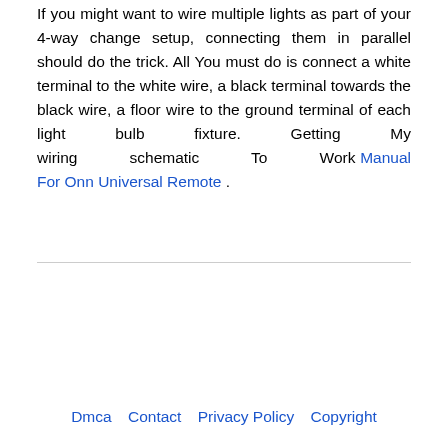If you might want to wire multiple lights as part of your 4-way change setup, connecting them in parallel should do the trick. All You must do is connect a white terminal to the white wire, a black terminal towards the black wire, a floor wire to the ground terminal of each light bulb fixture. Getting My wiring schematic To Work Manual For Onn Universal Remote .
Dmca  Contact  Privacy Policy  Copyright